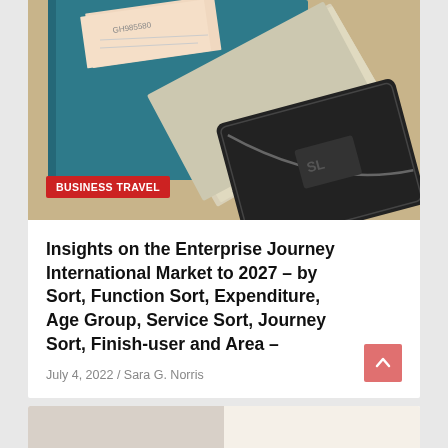[Figure (photo): Photo of a black leather zipper wallet with British pound notes (£20) and what appears to be receipts or tickets, placed on a teal/dark blue notebook on a beige surface]
BUSINESS TRAVEL
Insights on the Enterprise Journey International Market to 2027 – by Sort, Function Sort, Expenditure, Age Group, Service Sort, Journey Sort, Finish-user and Area –
July 4, 2022 / Sara G. Norris